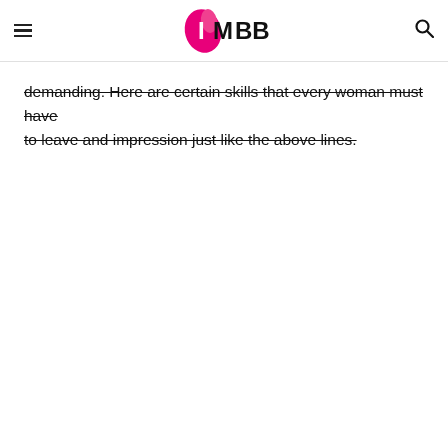IMBB
demanding. Here are certain skills that every woman must have to leave and impression just like the above lines.